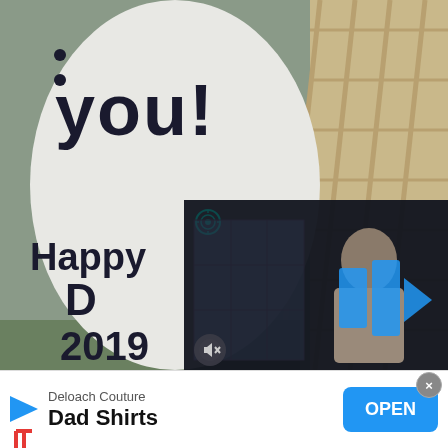[Figure (photo): Photo of a white mug with handwritten text 'you!' and 'Happy [Dad] 2019' in black marker, set against a basket background. A dark video overlay appears in the lower-right quadrant of the photo showing a woman in a room with shelves, with blue play icon arrows and a mute icon.]
×
Deloach Couture
Dad Shirts
OPEN